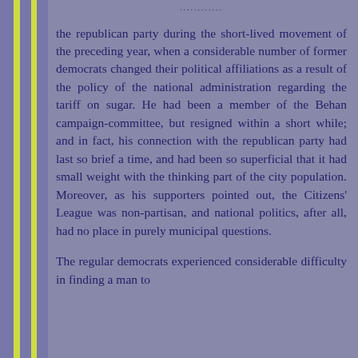the republican party during the short-lived movement of the preceding year, when a considerable number of former democrats changed their political affiliations as a result of the policy of the national administration regarding the tariff on sugar. He had been a member of the Behan campaign-committee, but resigned within a short while; and in fact, his connection with the republican party had last so brief a time, and had been so superficial that it had small weight with the thinking part of the city population. Moreover, as his supporters pointed out, the Citizens' League was non-partisan, and national politics, after all, had no place in purely municipal questions.
The regular democrats experienced considerable difficulty in finding a man to